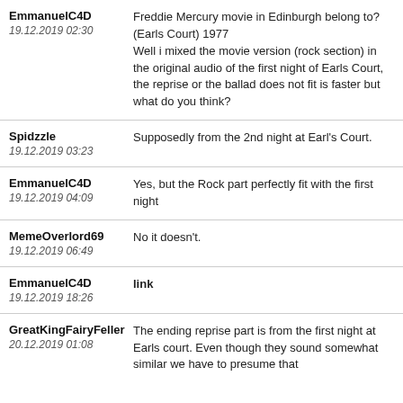EmmanuelC4D 19.12.2019 02:30 | Freddie Mercury movie in Edinburgh belong to?(Earls Court) 1977 Well i mixed the movie version (rock section) in the original audio of the first night of Earls Court, the reprise or the ballad does not fit is faster but what do you think?
Spidzzle 19.12.2019 03:23 | Supposedly from the 2nd night at Earl's Court.
EmmanuelC4D 19.12.2019 04:09 | Yes, but the Rock part perfectly fit with the first night
MemeOverlord69 19.12.2019 06:49 | No it doesn't.
EmmanuelC4D 19.12.2019 18:26 | link
GreatKingFairyFeller 20.12.2019 01:08 | The ending reprise part is from the first night at Earls court. Even though they sound somewhat similar we have to presume that